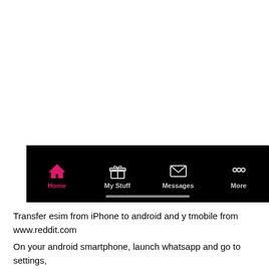[Figure (screenshot): T-Mobile app bottom navigation bar on a black background showing four icons: Home (active, pink house icon), My Stuff (gift box icon), Messages (envelope icon), More (three dots icon). A home indicator bar is at the bottom.]
Transfer esim from iPhone to android and y tmobile from www.reddit.com
On your android smartphone, launch whatsapp and go to settings, then chat settings > chat history. The phone handles dual sim (esim